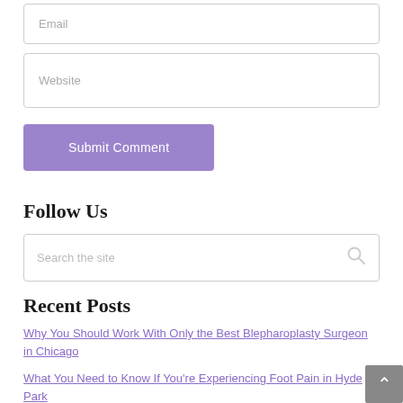Email
Website
Submit Comment
Follow Us
Search the site
Recent Posts
Why You Should Work With Only the Best Blepharoplasty Surgeon in Chicago
What You Need to Know If You're Experiencing Foot Pain in Hyde Park